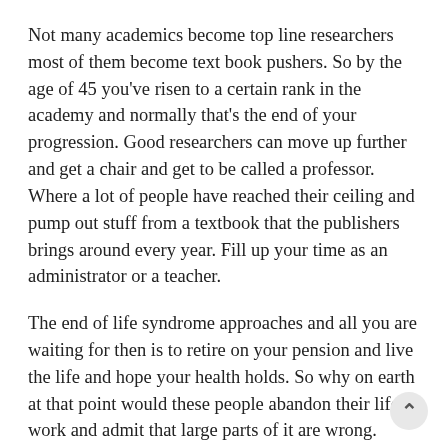Not many academics become top line researchers most of them become text book pushers. So by the age of 45 you've risen to a certain rank in the academy and normally that's the end of your progression. Good researchers can move up further and get a chair and get to be called a professor. Where a lot of people have reached their ceiling and pump out stuff from a textbook that the publishers brings around every year. Fill up your time as an administrator or a teacher.
The end of life syndrome approaches and all you are waiting for then is to retire on your pension and live the life and hope your health holds. So why on earth at that point would these people abandon their life's work and admit that large parts of it are wrong. What's the motivation for that. Particulary when you are in a group that have incredibly rigid rules with respect to promotion, with respect to asigning status, with respect to getting any publications or research money. In a very disciplined community in economics.